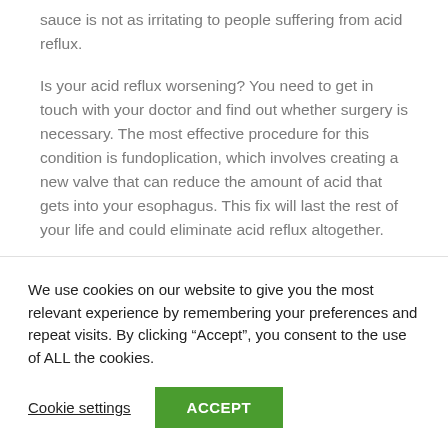sauce is not as irritating to people suffering from acid reflux.
Is your acid reflux worsening? You need to get in touch with your doctor and find out whether surgery is necessary. The most effective procedure for this condition is fundoplication, which involves creating a new valve that can reduce the amount of acid that gets into your esophagus. This fix will last the rest of your life and could eliminate acid reflux altogether.
What you drink can effect your reflux just as much as what you eat. Some examples of common acid reflux
We use cookies on our website to give you the most relevant experience by remembering your preferences and repeat visits. By clicking “Accept”, you consent to the use of ALL the cookies.
Cookie settings
ACCEPT